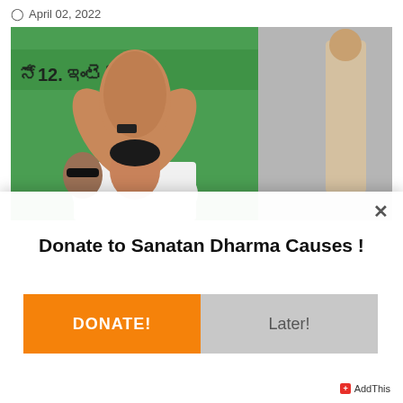April 02, 2022
[Figure (photo): A person in a white shirt performing a namaste gesture with hands raised above head, standing before a green backdrop with Telugu text. Another person in sunglasses is visible behind. Right side shows a grey background with a figure.]
×
Donate to Sanatan Dharma Causes !
DONATE!
Later!
AddThis